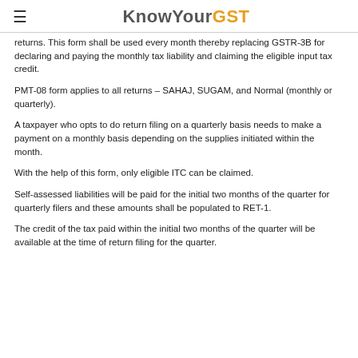KnowYourGST
returns. This form shall be used every month thereby replacing GSTR-3B for declaring and paying the monthly tax liability and claiming the eligible input tax credit.
PMT-08 form applies to all returns – SAHAJ, SUGAM, and Normal (monthly or quarterly).
A taxpayer who opts to do return filing on a quarterly basis needs to make a payment on a monthly basis depending on the supplies initiated within the month.
With the help of this form, only eligible ITC can be claimed.
Self-assessed liabilities will be paid for the initial two months of the quarter for quarterly filers and these amounts shall be populated to RET-1.
The credit of the tax paid within the initial two months of the quarter will be available at the time of return filing for the quarter.